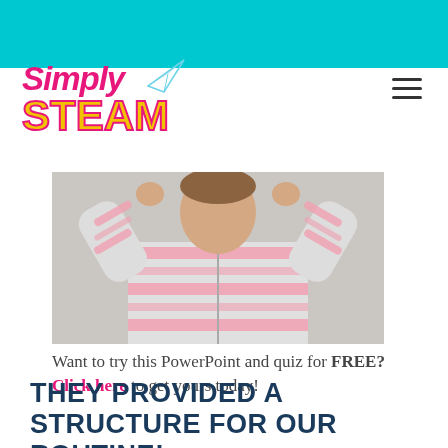Simply STEAM
[Figure (photo): Child in pink and gray striped hoodie with hands raised behind head, photographed from torso up against a gray background]
Want to try this PowerPoint and quiz for FREE? Click here to get yours today!
THEY PROVIDED A STRUCTURE FOR OUR ROUTINE!